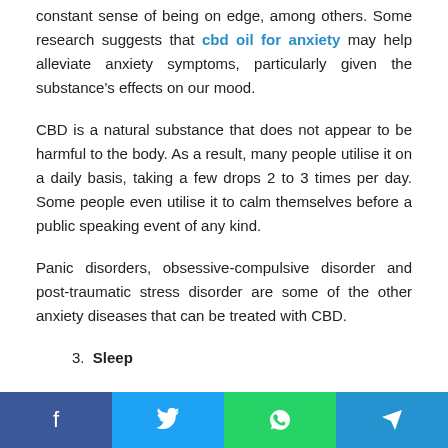constant sense of being on edge, among others. Some research suggests that cbd oil for anxiety may help alleviate anxiety symptoms, particularly given the substance's effects on our mood.
CBD is a natural substance that does not appear to be harmful to the body. As a result, many people utilise it on a daily basis, taking a few drops 2 to 3 times per day. Some people even utilise it to calm themselves before a public speaking event of any kind.
Panic disorders, obsessive-compulsive disorder and post-traumatic stress disorder are some of the other anxiety diseases that can be treated with CBD.
3. Sleep
Share buttons: Facebook, Twitter, WhatsApp, Telegram